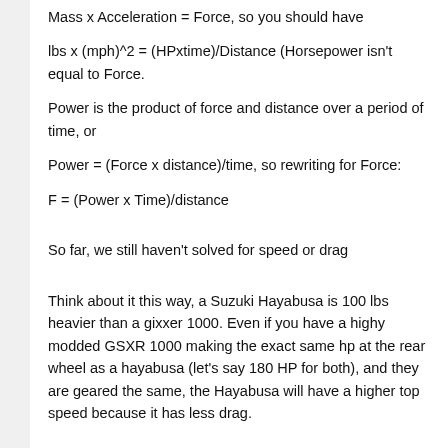Mass x Acceleration = Force, so you should have
lbs x (mph)^2 = (HPxtime)/Distance (Horsepower isn't equal to Force.
Power is the product of force and distance over a period of time, or
Power = (Force x distance)/time, so rewriting for Force:
F = (Power x Time)/distance
So far, we still haven't solved for speed or drag
Think about it this way, a Suzuki Hayabusa is 100 lbs heavier than a gixxer 1000. Even if you have a highy modded GSXR 1000 making the exact same hp at the rear wheel as a hayabusa (let's say 180 HP for both), and they are geared the same, the Hayabusa will have a higher top speed because it has less drag.